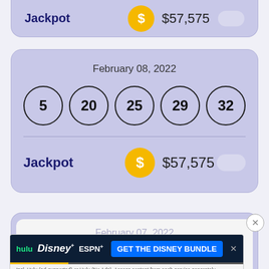Jackpot  $57,575
February 08, 2022
[Figure (infographic): Five lottery balls in circles showing numbers 5, 20, 25, 29, 32]
Jackpot  $57,575
February 07, 2022
[Figure (infographic): Advertisement banner: hulu Disney+ ESPN+ GET THE DISNEY BUNDLE. Incl. Hulu (ad-supported) or Hulu (No Ads). Access content from each service separately. ©2021 Disney and its related entities]